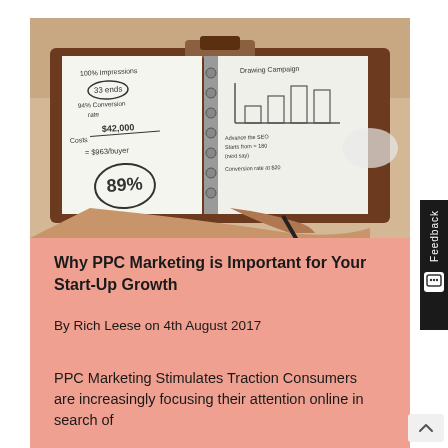[Figure (photo): Photo of a person writing marketing notes and calculations in a ring-bound notebook on a clipboard, with handwritten text including '89%', '$42,000', '= $963/buyer', '94% Conversion Rate', and a hand-drawn bar chart on the right page.]
Why PPC Marketing is Important for Your Start-Up Growth
By Rich Leese on 4th August 2017
PPC Marketing Stimulates Traction Consumers are increasingly focusing their attention online in search of